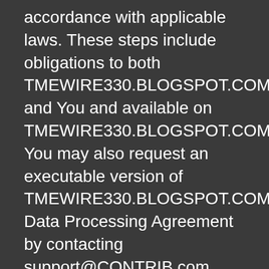accordance with applicable laws. These steps include obligations to both TMEWIRE330.BLOGSPOT.COM and You and available on TMEWIRE330.BLOGSPOT.COM. You may also request an executable version of TMEWIRE330.BLOGSPOT.COM's Data Processing Agreement by contacting support@CONTRIB.com.
IV. Information Security and Confidentiality